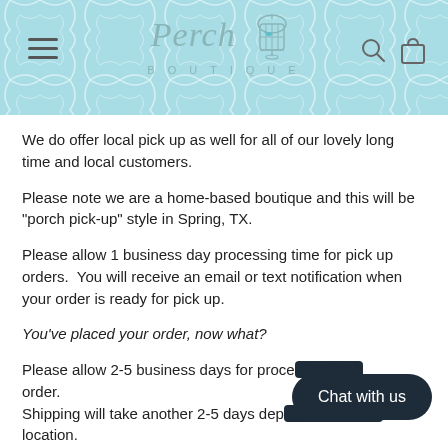[Figure (logo): Perch Boutique logo with birdcage illustration on teal/aqua patterned background header, with hamburger menu icon on left and search/bag icons on right]
We do offer local pick up as well for all of our lovely long time and local customers.
Please note we are a home-based boutique and this will be “porch pick-up” style in Spring, TX.
Please allow 1 business day processing time for pick up orders.  You will receive an email or text notification when your order is ready for pick up.
You’ve placed your order, now what?
Please allow 2-5 business days for proce... order.
Shipping will take another 2-5 days dep... location.